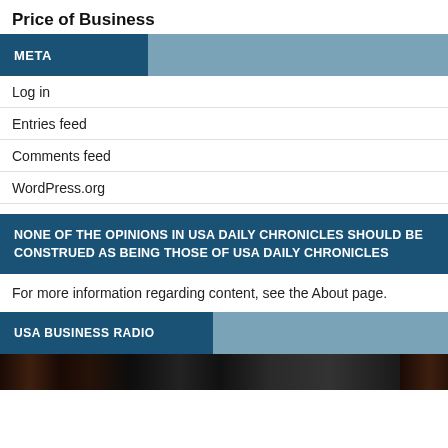Price of Business
META
Log in
Entries feed
Comments feed
WordPress.org
NONE OF THE OPINIONS IN USA DAILY CHRONICLES SHOULD BE CONSTRUED AS BEING THOSE OF USA DAILY CHRONICLES
For more information regarding content, see the About page.
USA BUSINESS RADIO
[Figure (photo): Dark background image strip at bottom of page]